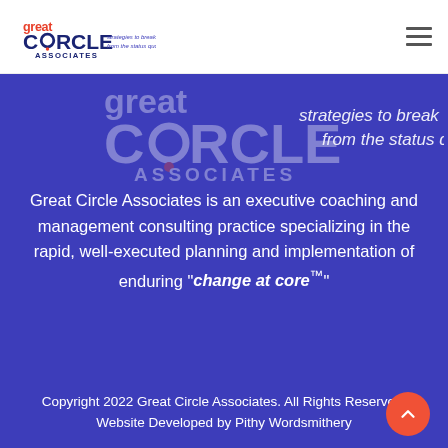[Figure (logo): Great Circle Associates logo with red 'great', dark blue 'CIRCLE ASSOCIATES' text and italic tagline 'strategies to break from the status quo']
[Figure (logo): Large watermark version of Great Circle Associates logo on blue background]
Great Circle Associates is an executive coaching and management consulting practice specializing in the rapid, well-executed planning and implementation of enduring "change at core™"
Copyright 2022 Great Circle Associates. All Rights Reserved.
Website Developed by Pithy Wordsmithery